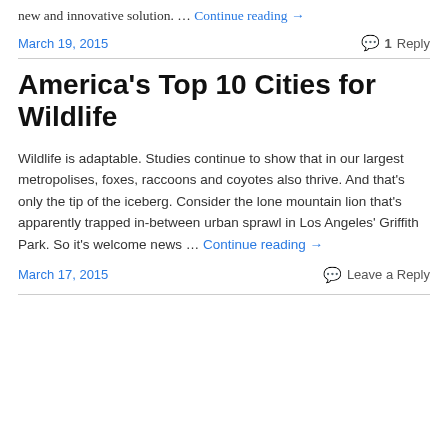new and innovative solution. … Continue reading →
March 19, 2015   1 Reply
America's Top 10 Cities for Wildlife
Wildlife is adaptable. Studies continue to show that in our largest metropolises, foxes, raccoons and coyotes also thrive. And that's only the tip of the iceberg. Consider the lone mountain lion that's apparently trapped in-between urban sprawl in Los Angeles' Griffith Park. So it's welcome news … Continue reading →
March 17, 2015   Leave a Reply